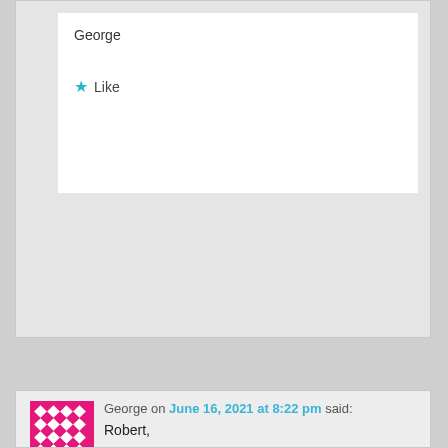George
Like
George on June 16, 2021 at 8:22 pm said:
Robert,
Any suggestions on a SAS daughter board that can see drives at or above 10TB; after reading just about everything I can find; I do not think it will matter even if I flash the card into IT mode; because all the forums that discuss how to do it state that the LSISAS3081E-R will not see Hard